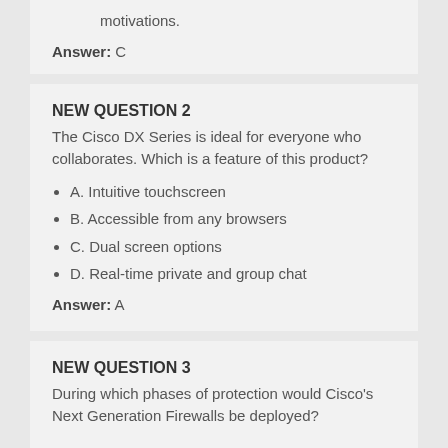motivations.
Answer: C
NEW QUESTION 2
The Cisco DX Series is ideal for everyone who collaborates. Which is a feature of this product?
A. Intuitive touchscreen
B. Accessible from any browsers
C. Dual screen options
D. Real-time private and group chat
Answer: A
NEW QUESTION 3
During which phases of protection would Cisco's Next Generation Firewalls be deployed?